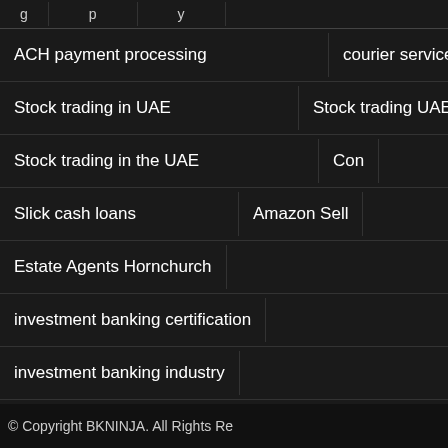ACH payment processing
courier service
Stock trading in UAE
Stock trading UAE
Stock trading in the UAE
Con→
Slick cash loans
Amazon Sell
Estate Agents Hornchurch
investment banking certification
investment banking industry
MORE NEWS
5 Questions Your Car Lawyer
Why it is earn m trading
3 Things Look Out incorporat Incoterms Into Your Bu
© Copyright BKNINJA. All Rights Re